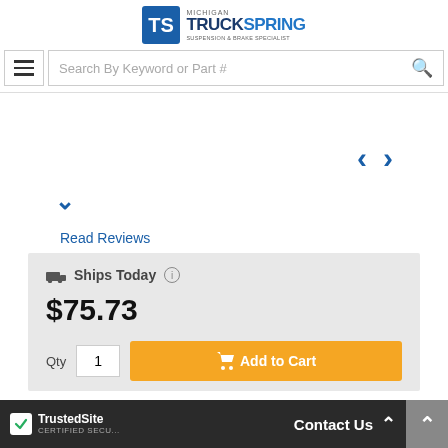Michigan TruckSpring - Suspension & Brake Specialist
[Figure (screenshot): Navigation arrows (left/right chevrons) for product image carousel, and a downward chevron for image thumbnails]
Read Reviews
Ships Today ℹ
$75.73
Qty  1  [Add to Cart button]
TrustedSite CERTIFIED SECU... | Contact Us ^